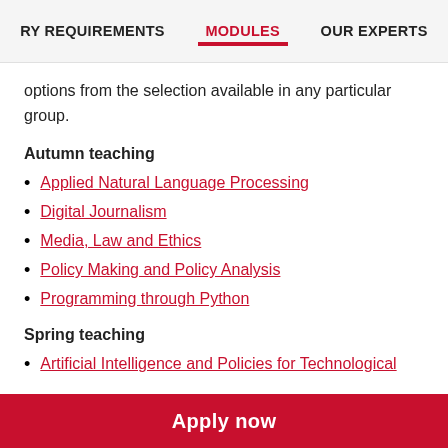RY REQUIREMENTS   MODULES   OUR EXPERTS
options from the selection available in any particular group.
Autumn teaching
Applied Natural Language Processing
Digital Journalism
Media, Law and Ethics
Policy Making and Policy Analysis
Programming through Python
Spring teaching
Artificial Intelligence and Policies for Technological
Apply now